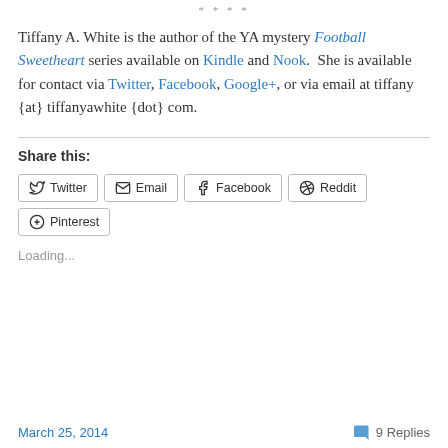* * * *
Tiffany A. White is the author of the YA mystery Football Sweetheart series available on Kindle and Nook.  She is available for contact via Twitter, Facebook, Google+, or via email at tiffany {at} tiffanyawhite {dot} com.
Share this:
Twitter  Email  Facebook  Reddit  Pinterest
Loading...
March 25, 2014   9 Replies